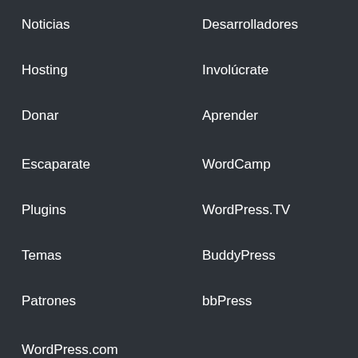Noticias
Hosting
Donar
Escaparate
Plugins
Temas
Patrones
WordPress.com
Matt
Privacidad
Código público
Desarrolladores
Involúcrate
Aprender
WordCamp
WordPress.TV
BuddyPress
bbPress